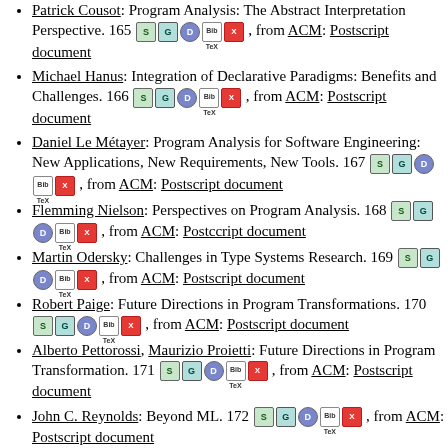Patrick Cousot: Program Analysis: The Abstract Interpretation Perspective. 165 [icons], from ACM: Postscript document
Michael Hanus: Integration of Declarative Paradigms: Benefits and Challenges. 166 [icons], from ACM: Postscript document
Daniel Le Métayer: Program Analysis for Software Engineering: New Applications, New Requirements, New Tools. 167 [icons], from ACM: Postscript document
Flemming Nielson: Perspectives on Program Analysis. 168 [icons], from ACM: Postccript document
Martin Odersky: Challenges in Type Systems Research. 169 [icons], from ACM: Postscript document
Robert Paige: Future Directions in Program Transformations. 170 [icons], from ACM: Postscript document
Alberto Pettorossi, Maurizio Proietti: Future Directions in Program Transformation. 171 [icons], from ACM: Postscript document
John C. Reynolds: Beyond ML. 172 [icons], from ACM: Postscript document
Jon G. Riecke: Semantics: The Description of Computational Structures. 173 [icons], from ACM: Postscript document